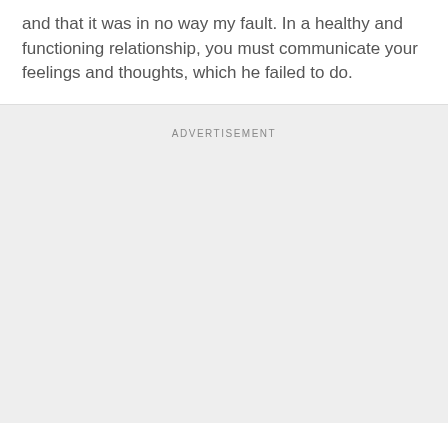and that it was in no way my fault. In a healthy and functioning relationship, you must communicate your feelings and thoughts, which he failed to do.
ADVERTISEMENT